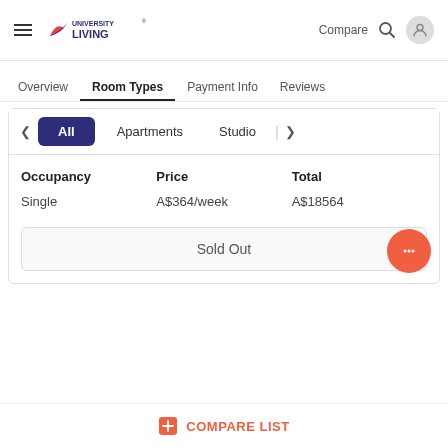[Figure (logo): University Living logo with hamburger menu]
Overview
Room Types
Payment Info
Reviews
All
Apartments
Studio
| Occupancy | Price | Total |
| --- | --- | --- |
| Single | A$364/week | A$18564 |
Sold Out
COMPARE LIST